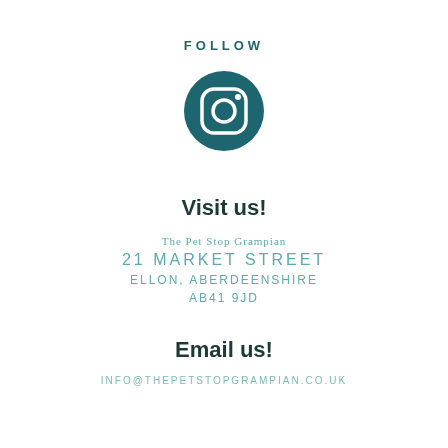FOLLOW
[Figure (logo): Instagram logo icon — white camera icon on teal circular background]
Visit us!
The Pet Stop Grampian
21 MARKET STREET
ELLON, ABERDEENSHIRE
AB41 9JD
Email us!
INFO@THEPETSTOPGRAMPIAN.CO.UK